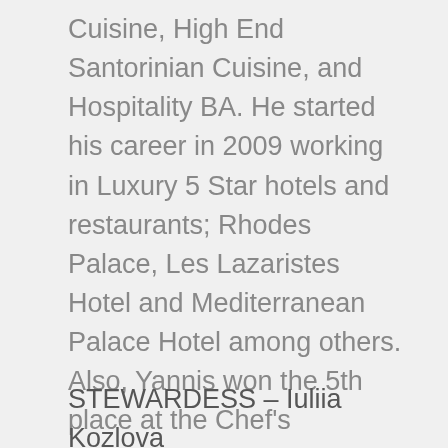Cuisine, High End Santorinian Cuisine, and Hospitality BA. He started his career in 2009 working in Luxury 5 Star hotels and restaurants; Rhodes Palace, Les Lazaristes Hotel and Mediterranean Palace Hotel among others. Also, Yannis won the 5th place at the Chef's competition in Monaco Yacht Classic week 2017 and he was awarded with 2 bronze medals in two categories at 11th International Culinary Competition of Southern Europe 2019. He is passionate with cooking and modern Mediterranean cuisine with a great knowledge on seafood and his delicious and nourishing recipes will make your trip unforgettable. Yannis speaks English.
STEWARDESS – Iuliia Kozlova
Iuliia was born in 1998 and she is Russian nationality...